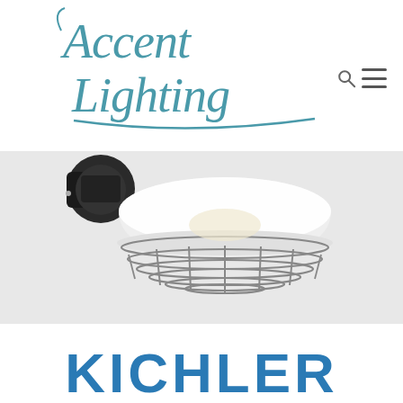[Figure (logo): Accent Lighting cursive logo in teal/blue-green color with decorative script lettering]
[Figure (photo): White industrial-style ceiling flush mount light fixture with metal cage guard, partially showing black wall bracket on left side, set against a gray background]
KICHLER